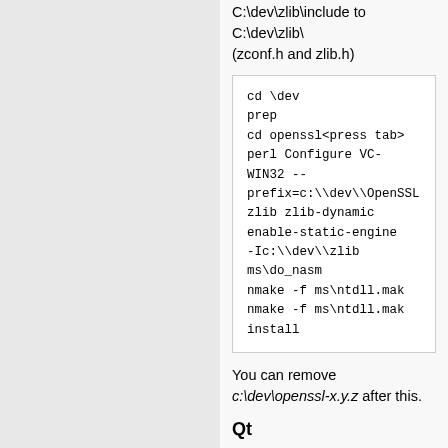C:\dev\zlib\include to C:\dev\zlib\ (zconf.h and zlib.h)
cd \dev
prep
cd openssl<press tab>
perl Configure VC-WIN32 --prefix=c:\\dev\\OpenSSL zlib zlib-dynamic enable-static-engine -Ic:\\dev\\zlib
ms\do_nasm
nmake -f ms\ntdll.mak
nmake -f ms\ntdll.mak install
You can remove c:\dev\openssl-x.y.z after this.
Qt
Checkout the Mumble Qt git repo